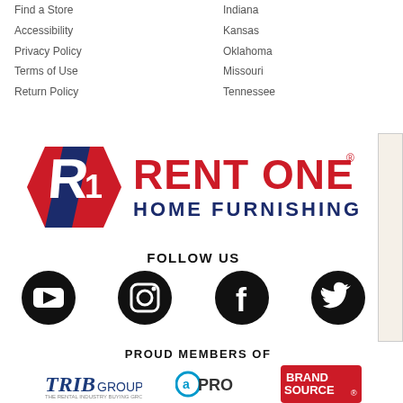Find a Store
Accessibility
Privacy Policy
Terms of Use
Return Policy
Indiana
Kansas
Oklahoma
Missouri
Tennessee
[Figure (logo): Rent One Home Furnishings logo with stylized R/1 icon in red and navy, and text RENT ONE in red, HOME FURNISHINGS in navy]
FOLLOW US
[Figure (illustration): Social media icons: YouTube, Instagram, Facebook, Twitter — all in black circles]
PROUD MEMBERS OF
[Figure (logo): Member logos: TRIB GROUP, aPRO, BRAND SOURCE]